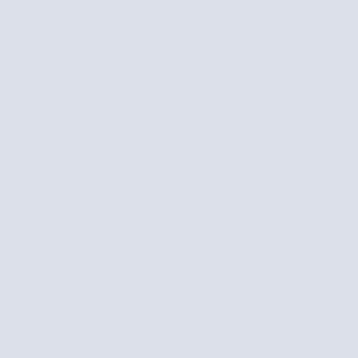APO... PI... SALMOS 45:9/N...
Reply
From: BARILOCHENSE6999
La Virgen de Guadalu... http://www.vaticanocatolico... aparición de ...
Reply  Hide message
From: BARILOCHENSE6999
[Figure (screenshot): Image placeholder with three dots icon on grey background]